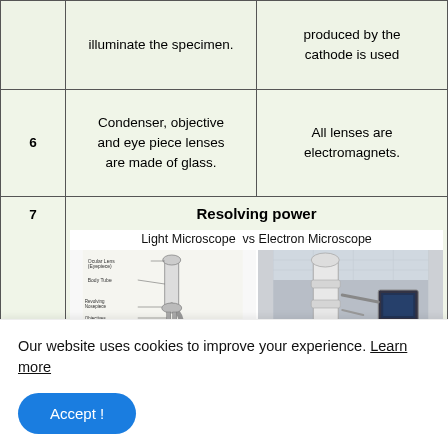| # | Light Microscope | Electron Microscope |
| --- | --- | --- |
|  | illuminate the specimen. | produced by the cathode is used |
| 6 | Condenser, objective and eye piece lenses are made of glass. | All lenses are electromagnets. |
| 7 | Resolving power [image: Light Microscope vs Electron Microscope] |  |
Our website uses cookies to improve your experience. Learn more